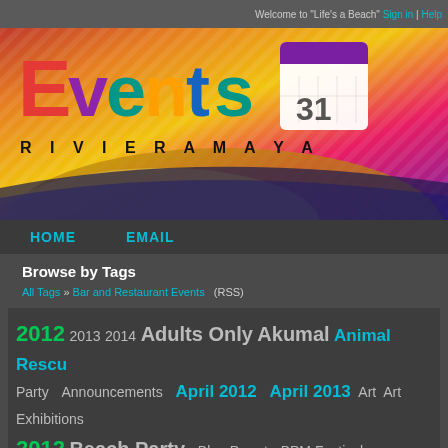Welcome to "Life's a Beach"  Sign in | Help
[Figure (illustration): Events Riviera Maya banner logo with colorful text on a vibrant textile background. Large colorful 'Events' text with calendar icon showing '31', and 'RIVIERA MAYA' text below.]
HOME   EMAIL
Browse by Tags
All Tags » Bar and Restaurant Events   (RSS)
2012  2013  2014  Adults Only  Akumal  Animal Rescue Party  Announcements  April 2012  April 2013  Art  Art Exhibitions  2012  Beach Party  Blue Parrot  BPM Festival  Cancun  Chri...